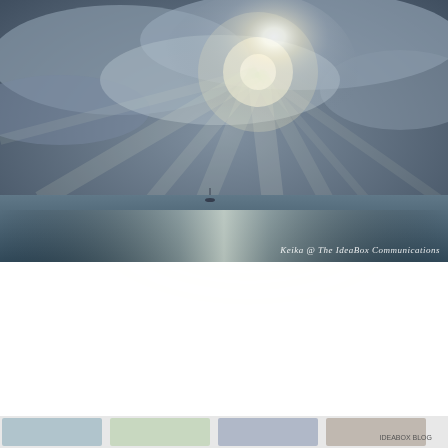[Figure (photo): Photograph of a dramatic sea and sky scene with bright sunlight breaking through clouds over a calm ocean. A small boat is visible on the horizon. The watermark 'Keika @ The IdeaBox Communications' is overlaid in italic white text at the bottom right.]
Privacy & Cookies: This site uses cookies. By continuing to use this website, you agree to their use.
To find out more, including how to control cookies, see here: Cookie Policy